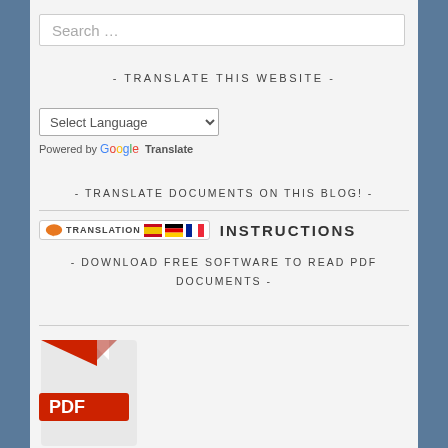Search …
- TRANSLATE THIS WEBSITE -
[Figure (screenshot): Select Language dropdown with chevron]
Powered by Google Translate
- TRANSLATE DOCUMENTS ON THIS BLOG! -
[Figure (logo): Translation badge with Spanish, German, French flags followed by INSTRUCTIONS text]
- DOWNLOAD FREE SOFTWARE TO READ PDF DOCUMENTS -
[Figure (illustration): PDF icon with red corner fold and white text]